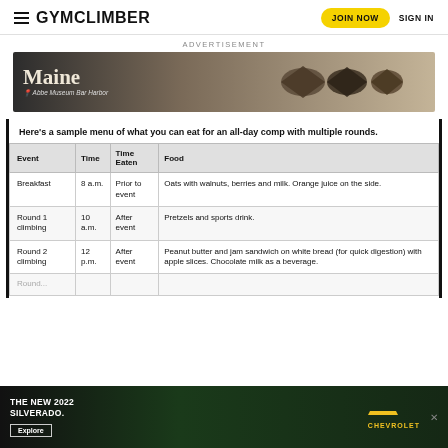GYMCLIMBER | JOIN NOW | SIGN IN
ADVERTISEMENT
[Figure (photo): Maine Abbe Museum Bar Harbor advertisement banner with arrowhead artifacts on a gradient background]
Here's a sample menu of what you can eat for an all-day comp with multiple rounds.
| Event | Time | Time Eaten | Food |
| --- | --- | --- | --- |
| Breakfast | 8 a.m. | Prior to event | Oats with walnuts, berries and milk. Orange juice on the side. |
| Round 1 climbing | 10 a.m. | After event | Pretzels and sports drink. |
| Round 2 climbing | 12 p.m. | After event | Peanut butter and jam sandwich on white bread (for quick digestion) with apple slices. Chocolate milk as a beverage. |
| Round... |  |  |  |
[Figure (photo): Chevrolet The New 2022 Silverado advertisement banner with truck image and Explore button]